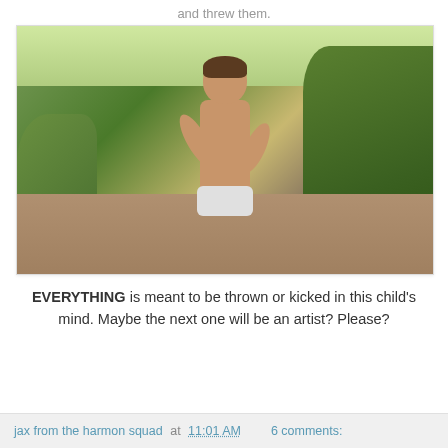and threw them.
[Figure (photo): A shirtless toddler standing outdoors near berry bushes, with trees and a dirt path in the background.]
EVERYTHING is meant to be thrown or kicked in this child's mind. Maybe the next one will be an artist? Please?
jax from the harmon squad at 11:01 AM    6 comments: